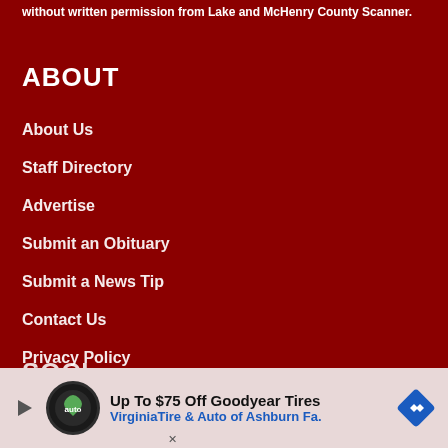without written permission from Lake and McHenry County Scanner.
ABOUT
About Us
Staff Directory
Advertise
Submit an Obituary
Submit a News Tip
Contact Us
Privacy Policy
SOCI…
[Figure (screenshot): Advertisement banner: Up To $75 Off Goodyear Tires - VirginiaTire & Auto of Ashburn Fa.]